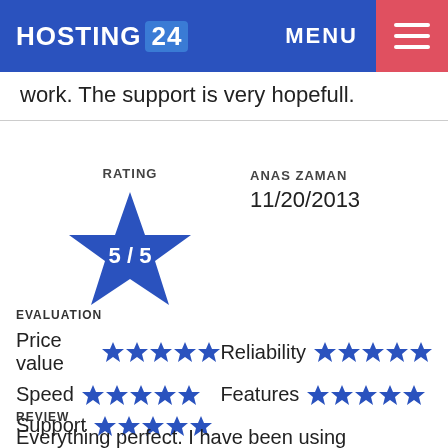HOSTING 24 | MENU
work. The support is very hopefull.
[Figure (other): Large blue star with '5 / 5' rating, labeled RATING, reviewer ANAS ZAMAN dated 11/20/2013]
EVALUATION
Price value ★★★★★  Reliability ★★★★★
Speed ★★★★★  Features ★★★★★
Support ★★★★★
REVIEW
Everything perfect. I have been using Hosting24 for